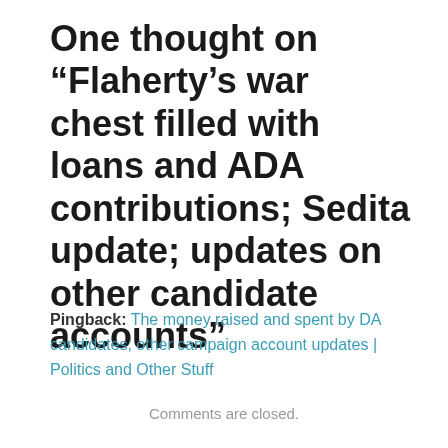One thought on “Flaherty’s war chest filled with loans and ADA contributions; Sedita update; updates on other candidate accounts”
Pingback: The money raised and spent by DA candidates; other campaign account updates | Politics and Other Stuff
Comments are closed.